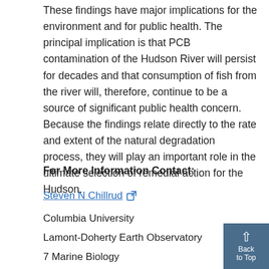These findings have major implications for the environment and for public health. The principal implication is that PCB contamination of the Hudson River will persist for decades and that consumption of fish from the river will, therefore, continue to be a source of significant public health concern. Because the findings relate directly to the rate and extent of the natural degradation process, they will play an important role in the ultimate selection of remedial action for the Hudson.
For More Information Contact:
Steven N Chillrud [external link]
Columbia University
Lamont-Doherty Earth Observatory
7 Marine Biology